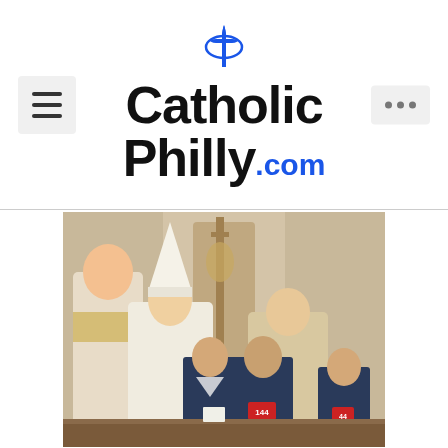CatholicPhilly.com
[Figure (photo): A bishop wearing white vestments and mitre interacts with Cub Scouts in navy uniforms inside a cathedral, with priests in gold vestments in the background.]